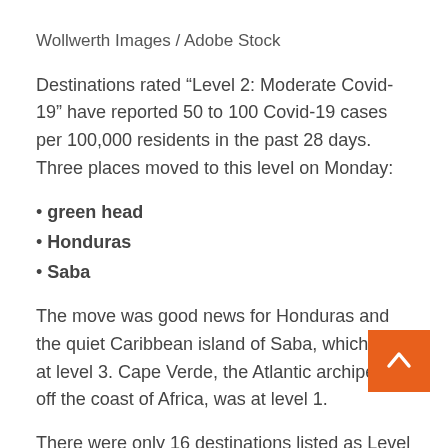Wollwerth Images / Adobe Stock
Destinations rated “Level 2: Moderate Covid-19” have reported 50 to 100 Covid-19 cases per 100,000 residents in the past 28 days. Three places moved to this level on Monday:
green head
Honduras
Saba
The move was good news for Honduras and the quiet Caribbean island of Saba, which was at level 3. Cape Verde, the Atlantic archipelago off the coast of Africa, was at level 1.
There were only 16 destinations listed as Level 2 on June 13.